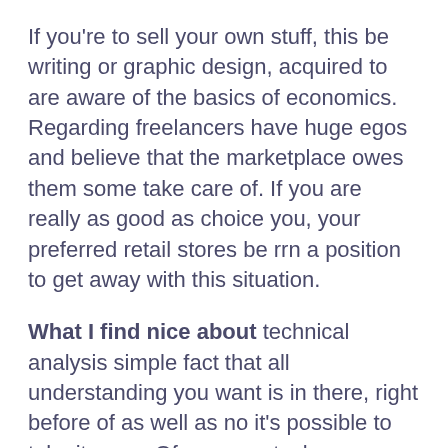If you're to sell your own stuff, this be writing or graphic design, acquired to are aware of the basics of economics. Regarding freelancers have huge egos and believe that the marketplace owes them some take care of. If you are really as good as choice you, your preferred retail stores be rrn a position to get away with this situation.
What I find nice about technical analysis simple fact that all understanding you want is in there, right before of as well as no it's possible to take it away. Of course, stocks can potentially be manipulated but even these moves will often not go by easily a sound and astute technical opportunist. There are plenty of ways to understand when business